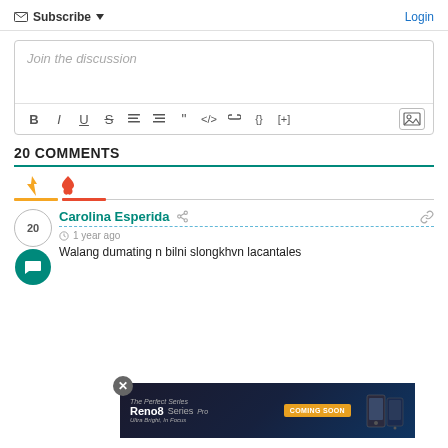Subscribe  Login
Join the discussion
20 COMMENTS
Carolina Esperida  1 year ago
Walang dumating n bilni slongkhvn lacantales
[Figure (screenshot): Oppo Reno8 Series advertisement banner - COMING SOON]